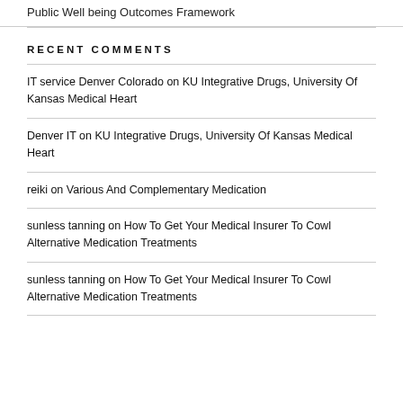Public Well being Outcomes Framework
RECENT COMMENTS
IT service Denver Colorado on KU Integrative Drugs, University Of Kansas Medical Heart
Denver IT on KU Integrative Drugs, University Of Kansas Medical Heart
reiki on Various And Complementary Medication
sunless tanning on How To Get Your Medical Insurer To Cowl Alternative Medication Treatments
sunless tanning on How To Get Your Medical Insurer To Cowl Alternative Medication Treatments